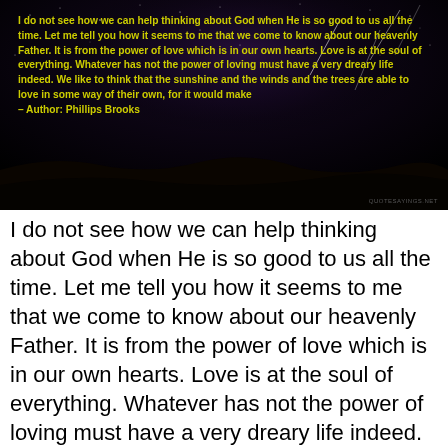[Figure (photo): Night sky photograph with stars and meteors over a dark landscape. Yellow bold text overlaid with a quote by Phillips Brooks about God, love, and nature. Watermark reads QUOTESAYINGS.NET at bottom right.]
I do not see how we can help thinking about God when He is so good to us all the time. Let me tell you how it seems to me that we come to know about our heavenly Father. It is from the power of love which is in our own hearts. Love is at the soul of everything. Whatever has not the power of loving must have a very dreary life indeed. We like to think that the sunshine and the winds and the trees are able to love